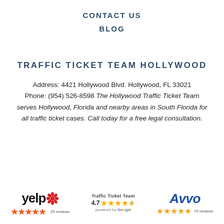CONTACT US
BLOG
TRAFFIC TICKET TEAM HOLLYWOOD
Address: 4421 Hollywood Blvd. Hollywood, FL 33021 Phone: (954) 526-8598 The Hollywood Traffic Ticket Team serves Hollywood, Florida and nearby areas in South Florida for all traffic ticket cases. Call today for a free legal consultation.
[Figure (logo): Yelp logo with red burst icon, 5 orange stars and '25 reviews' text]
[Figure (logo): Traffic Ticket Team Google rating: 4.7 stars, powered by Google]
[Figure (logo): Avvo logo in blue italic with 5 gold stars and '75 reviews' text]